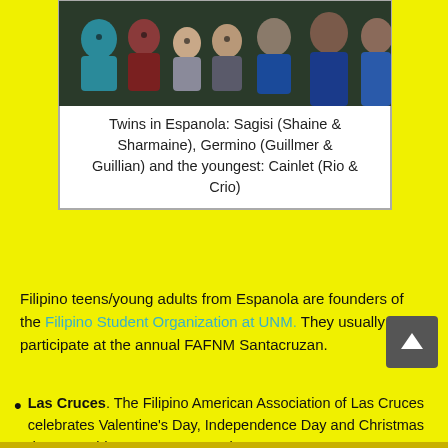[Figure (photo): Group photo of Filipino children and young adults sitting together, smiling at the camera]
Twins in Espanola: Sagisi (Shaine & Sharmaine), Germino (Guillmer & Guillian) and the youngest: Cainlet (Rio & Crio)
Filipino teens/young adults from Espanola are founders of the Filipino Student Organization at UNM.  They usually participate at the annual FAFNM Santacruzan.
Las Cruces.  The Filipino American Association of Las Cruces celebrates Valentine's Day, Independence Day and Christmas days.  President:  Tommy Tomenbang.